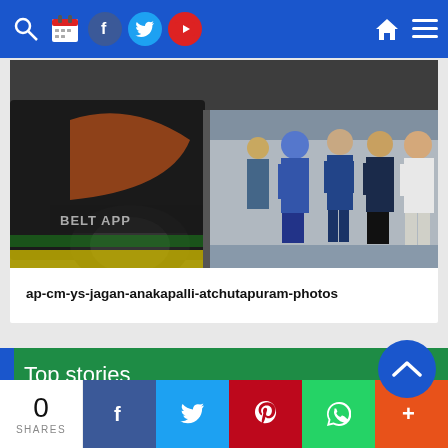Navigation bar with search, calendar, Facebook, Twitter, YouTube, home, and menu icons
[Figure (photo): Officials including AP CM YS Jagan visiting an industrial facility at Anakapalli Atchutapuram. A bus with 'Belt App' text is visible on the left, workers in blue uniforms and hard hats are inspecting the facility, and dignitaries in formal attire stand on the right.]
ap-cm-ys-jagan-anakapalli-atchutapuram-photos
Top stories
0 SHARES | Facebook | Twitter | Pinterest | WhatsApp | More